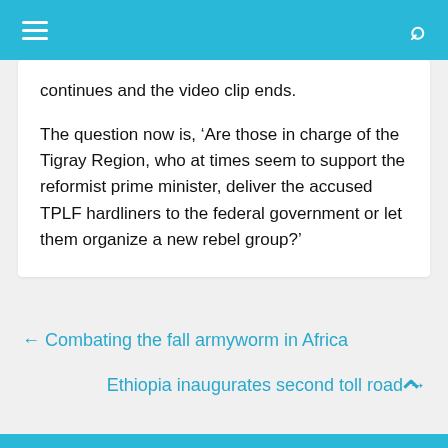☰  [menu]  Q [search]
continues and the video clip ends.
The question now is, 'Are those in charge of the Tigray Region, who at times seem to support the reformist prime minister, deliver the accused TPLF hardliners to the federal government or let them organize a new rebel group?'
← Combating the fall armyworm in Africa
Ethiopia inaugurates second toll road →